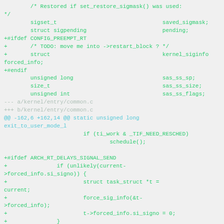/* Restored if set_restore_sigmask() was used: */
        sigset_t                                saved_sigmask;
        struct sigpending                       pending;
+#ifdef CONFIG_PREEMPT_RT
+       /* TODO: move me into ->restart_block ? */
+       struct                                  kernel_siginfo forced_info;
+#endif
        unsigned long                           sas_ss_sp;
        size_t                                  sas_ss_size;
        unsigned int                            sas_ss_flags;
--- a/kernel/entry/common.c
+++ b/kernel/entry/common.c
@@ -162,6 +162,14 @@ static unsigned long exit_to_user_mode_l
                        if (ti_work & _TIF_NEED_RESCHED)
                                schedule();

+#ifdef ARCH_RT_DELAYS_SIGNAL_SEND
+               if (unlikely(current->forced_info.si_signo)) {
+                       struct task_struct *t = current;
+                       force_sig_info(&t->forced_info);
+                       t->forced_info.si_signo = 0;
+               }
+#endif
+